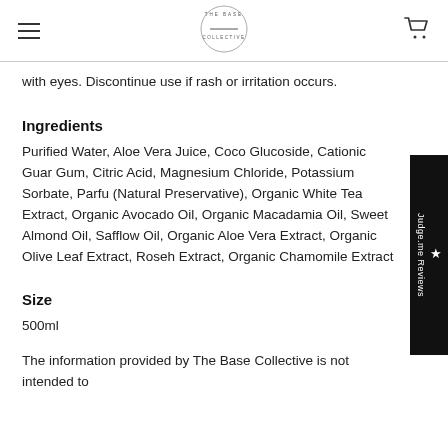The Base Collective (logo)
with eyes. Discontinue use if rash or irritation occurs.
Ingredients
Purified Water, Aloe Vera Juice, Coco Glucoside, Cationic Guar Gum, Citric Acid, Magnesium Chloride, Potassium Sorbate, Parfu (Natural Preservative), Organic White Tea Extract, Organic Avocado Oil, Organic Macadamia Oil, Sweet Almond Oil, Safflow Oil, Organic Aloe Vera Extract, Organic Olive Leaf Extract, Roseh Extract, Organic Chamomile Extract
Size
500ml
The information provided by The Base Collective is not intended to